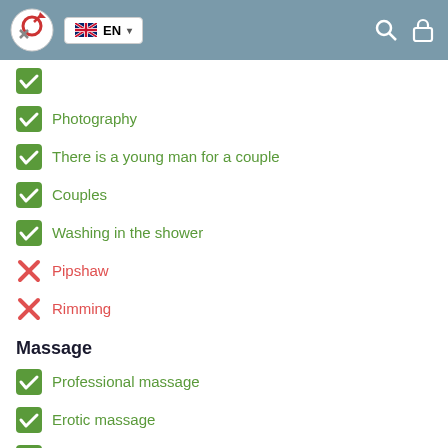EN
Photography
There is a young man for a couple
Couples
Washing in the shower
Pipshaw
Rimming
Massage
Professional massage
Erotic massage
Urologic massage
Thai massage
Massotherapy
Four-Hand Massage
Sports massage
Relaxing massage